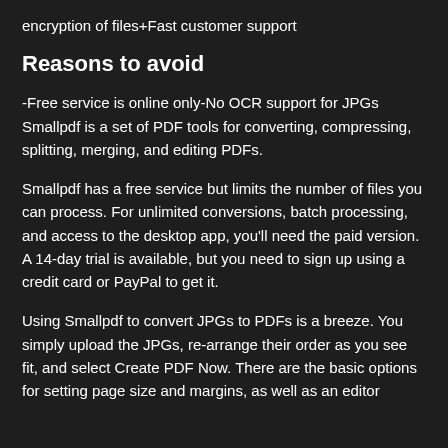encryption of files+Fast customer support
Reasons to avoid
-Free service is online only-No OCR support for JPGs Smallpdf is a set of PDF tools for converting, compressing, splitting, merging, and editing PDFs.
Smallpdf has a free service but limits the number of files you can process. For unlimited conversions, batch processing, and access to the desktop app, you’ll need the paid version. A 14-day trial is available, but you need to sign up using a credit card or PayPal to get it.
Using Smallpdf to convert JPGs to PDFs is a breeze. You simply upload the JPGs, re-arrange their order as you see fit, and select Create PDF Now. There are the basic options for setting page size and margins, as well as an editor